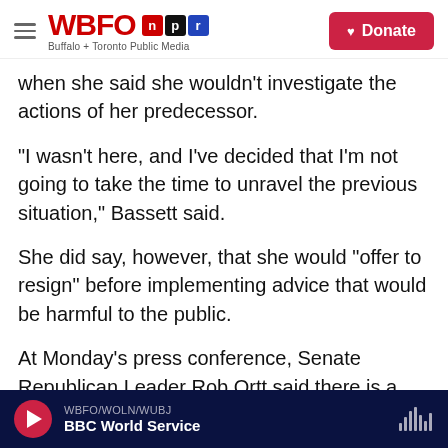WBFO NPR — Buffalo + Toronto Public Media | Donate
when she said she wouldn't investigate the actions of her predecessor.
“I wasn’t here, and I’ve decided that I’m not going to take the time to unravel the previous situation,” Bassett said.
She did say, however, that she would “offer to resign” before implementing advice that would be harmful to the public.
At Monday’s press conference, Senate Republican Leader Rob Ortt said there is a moral imperative for the new Department of Health to correct the
WBFO/WOLN/WUBJ — BBC World Service